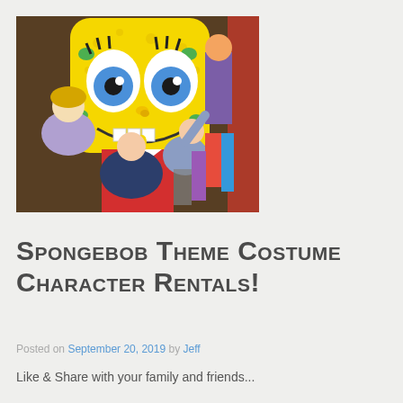[Figure (photo): Children interacting with a large SpongeBob SquarePants mascot costume character inside what appears to be a party supply or costume shop. A boy and girl reach toward the yellow sponge character. Colorful items and a clown figure are visible in the background.]
Spongebob Theme Costume Character Rentals!
Posted on September 20, 2019 by Jeff
Like & Share with your family and friends...